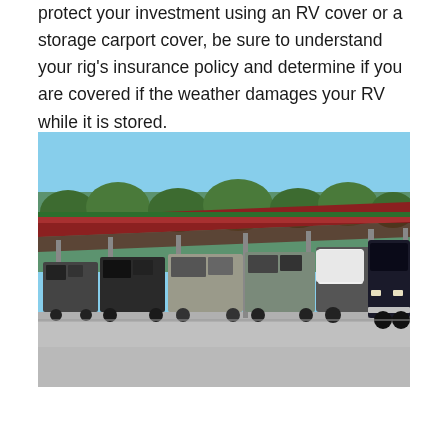protect your investment using an RV cover or a storage carport cover, be sure to understand your rig's insurance policy and determine if you are covered if the weather damages your RV while it is stored.
[Figure (photo): A row of large RVs and motorhomes parked under a long open-sided carport storage structure with a red/dark roof supported by metal poles, on a sunny day with blue sky and trees in the background.]